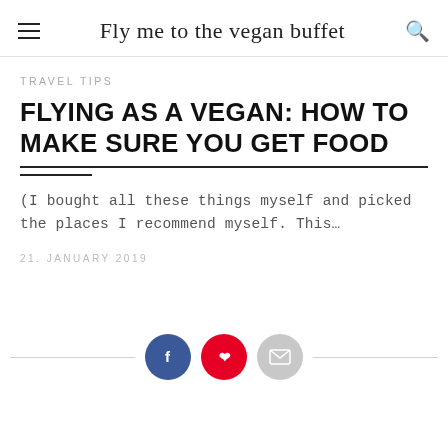Fly me to the vegan buffet
TRAVEL TIPS
FLYING AS A VEGAN: HOW TO MAKE SURE YOU GET FOOD
(I bought all these things myself and picked the places I recommend myself. This…
21. JANUARY 2019
[Figure (infographic): Social share buttons row: Facebook (blue circle with f), Pinterest (red circle with p), Email (gray circle with envelope icon), flanked by horizontal divider lines on each side.]